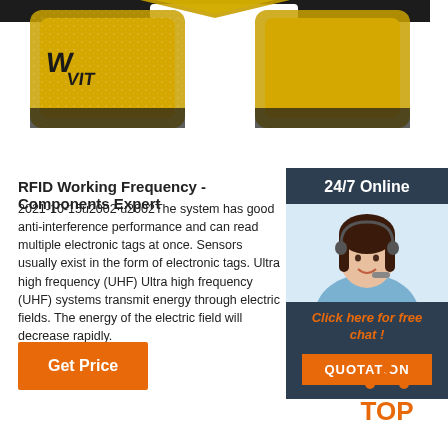[Figure (photo): Gold and black RFID wristband photographed on white background]
RFID Working Frequency - Components Expert
2021-10-15u2002·u2002The system has good anti-interference performance and can read multiple electronic tags at once. Sensors usually exist in the form of electronic tags. Ultra high frequency (UHF) Ultra high frequency (UHF) systems transmit energy through electric fields. The energy of the electric field will decrease rapidly.
[Figure (photo): 24/7 Online support agent - woman with headset smiling, with Click here for free chat and QUOTATION button]
Get Price
[Figure (logo): TOP logo with orange dots arranged in triangle above the word TOP in orange]